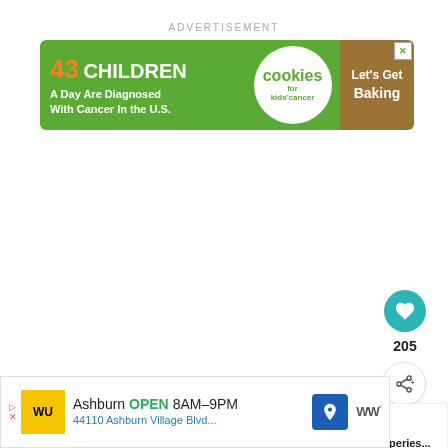ADVERTISEMENT
[Figure (infographic): Cookies for Kids' Cancer charity advertisement banner: '43 CHILDREN A Day Are Diagnosed With Cancer In the U.S.' with cookies logo and 'Let's Get Baking' call to action]
205
WHAT'S NEXT → How to roast Piperies...
[Figure (infographic): Western Union ad: Ashburn OPEN 8AM-9PM, 44110 Ashburn Village Blvd...]